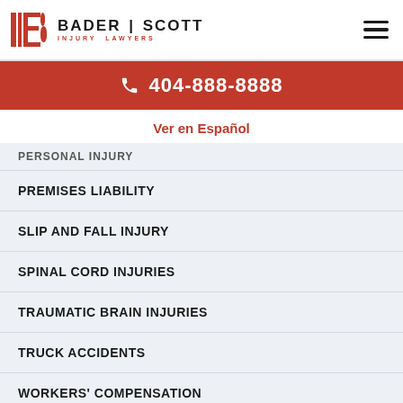[Figure (logo): Bader Scott Injury Lawyers logo with red B icon and firm name]
404-888-8888
Ver en Español
PERSONAL INJURY (partial)
PREMISES LIABILITY
SLIP AND FALL INJURY
SPINAL CORD INJURIES
TRAUMATIC BRAIN INJURIES
TRUCK ACCIDENTS
WORKERS' COMPENSATION